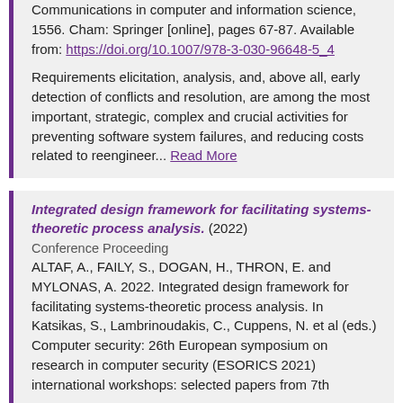Communications in computer and information science, 1556. Cham: Springer [online], pages 67-87. Available from: https://doi.org/10.1007/978-3-030-96648-5_4
Requirements elicitation, analysis, and, above all, early detection of conflicts and resolution, are among the most important, strategic, complex and crucial activities for preventing software system failures, and reducing costs related to reengineer... Read More
Integrated design framework for facilitating systems-theoretic process analysis. (2022)
Conference Proceeding
ALTAF, A., FAILY, S., DOGAN, H., THRON, E. and MYLONAS, A. 2022. Integrated design framework for facilitating systems-theoretic process analysis. In Katsikas, S., Lambrinoudakis, C., Cuppens, N. et al (eds.) Computer security: 26th European symposium on research in computer security (ESORICS 2021) international workshops: selected papers from 7th